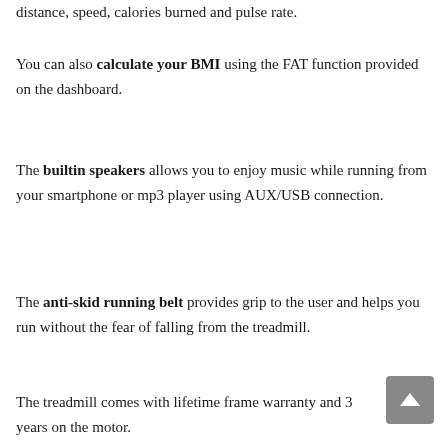distance, speed, calories burned and pulse rate.
You can also calculate your BMI using the FAT function provided on the dashboard.
The builtin speakers allows you to enjoy music while running from your smartphone or mp3 player using AUX/USB connection.
The anti-skid running belt provides grip to the user and helps you run without the fear of falling from the treadmill.
The treadmill comes with lifetime frame warranty and 3 years on the motor.